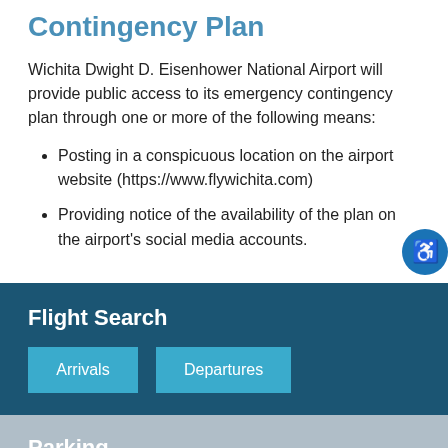Contingency Plan
Wichita Dwight D. Eisenhower National Airport will provide public access to its emergency contingency plan through one or more of the following means:
Posting in a conspicuous location on the airport website (https://www.flywichita.com)
Providing notice of the availability of the plan on the airport's social media accounts.
Flight Search
Arrivals
Departures
Parking